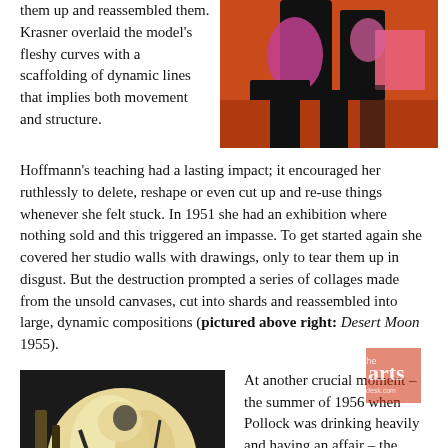them up and reassembled them. Krasner overlaid the model's fleshy curves with a scaffolding of dynamic lines that implies both movement and structure.
[Figure (photo): Abstract collage painting with bold black forms and pink shapes on an orange/red background — Desert Moon 1955]
Hoffmann's teaching had a lasting impact; it encouraged her ruthlessly to delete, reshape or even cut up and re-use things whenever she felt stuck. In 1951 she had an exhibition where nothing sold and this triggered an impasse. To get started again she covered her studio walls with drawings, only to tear them up in disgust. But the destruction prompted a series of collages made from the unsold canvases, cut into shards and reassembled into large, dynamic compositions (pictured above right: Desert Moon 1955).
[Figure (photo): Abstract cubist painting with fleshy fragmented forms in cream, yellow, pink and dark tones — Prophecy 1956]
At another crucial moment – the summer of 1956 when Pollock was drinking heavily and having an affair – the fragmented, fleshy forms of her cubist drawings unexpectedly reappear in a series of paintings. Prophecy 1956 (pictured left) is imbued with a sense